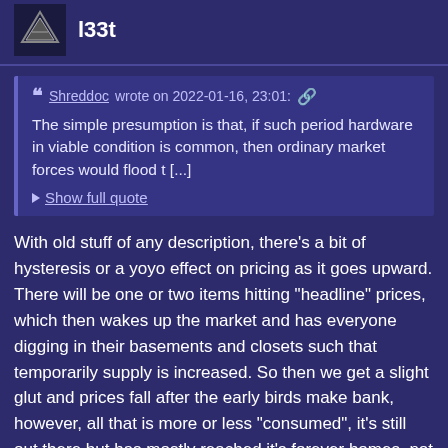l33t
Shreddoc wrote on 2022-01-16, 23:01: The simple presumption is that, if such period hardware in viable condition is common, then ordinary market forces would flood t [...]
▶ Show full quote
With old stuff of any description, there's a bit of hysteresis or a yoyo effect on pricing as it goes upward. There will be one or two items hitting "headline" prices, which then wakes up the market and has everyone digging in their basements and closets such that temporarily supply is increased. So then we get a slight glut and prices fall after the early birds make bank, however, all that is more or less "consumed", it's still out there but has mostly reached it's forever homes, not a lot destined for resale when prices high. So after that glut is taken up, then prices take a steady upward march, as less and less pieces at discounted prices